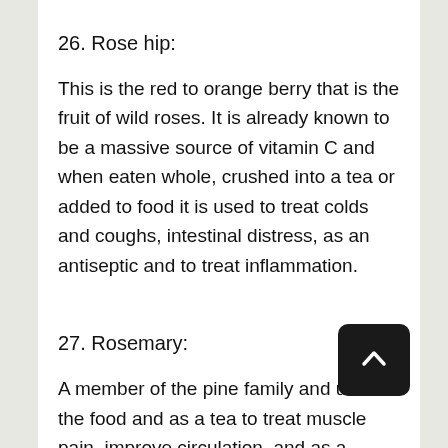26. Rose hip:
This is the red to orange berry that is the fruit of wild roses. It is already known to be a massive source of vitamin C and when eaten whole, crushed into a tea or added to food it is used to treat colds and coughs, intestinal distress, as an antiseptic and to treat inflammation.
27. Rosemary:
A member of the pine family and used in the food and as a tea to treat muscle pain, improve circulation, and as a general cleanser for the